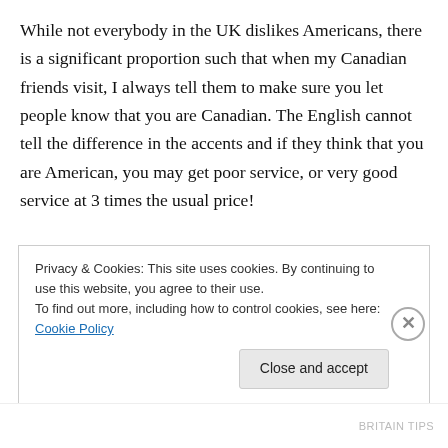While not everybody in the UK dislikes Americans, there is a significant proportion such that when my Canadian friends visit, I always tell them to make sure you let people know that you are Canadian. The English cannot tell the difference in the accents and if they think that you are American, you may get poor service, or very good service at 3 times the usual price!
To try and briefly explain an English perspective, you must visualize a very small but highly populated country, in which the population centers around key industrial cities.
Privacy & Cookies: This site uses cookies. By continuing to use this website, you agree to their use.
To find out more, including how to control cookies, see here: Cookie Policy